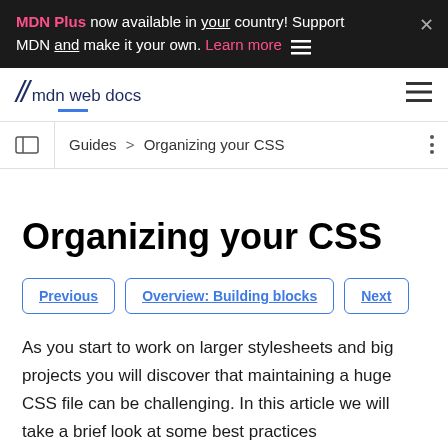MDN Plus now available in your country! Support MDN and make it your own. Learn more
mdn web docs
Guides > Organizing your CSS
Organizing your CSS
Previous | Overview: Building blocks | Next
As you start to work on larger stylesheets and big projects you will discover that maintaining a huge CSS file can be challenging. In this article we will take a brief look at some best practices